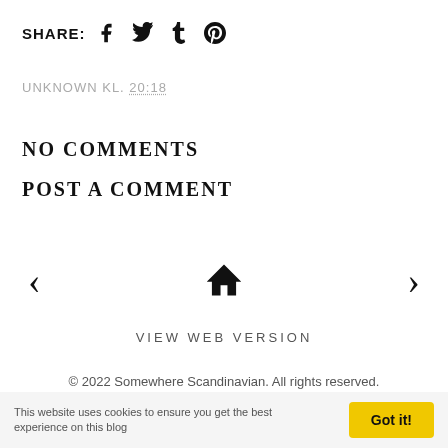SHARE: [facebook] [twitter] [tumblr] [pinterest]
UNKNOWN KL. 20:18
NO COMMENTS
POST A COMMENT
< [home] >
VIEW WEB VERSION
© 2022 Somewhere Scandinavian. All rights reserved.
This website uses cookies to ensure you get the best experience on this blog  Got it!